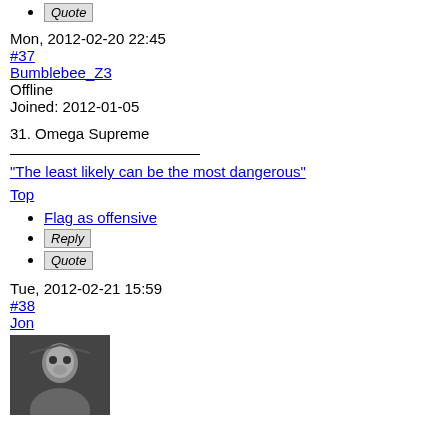Quote
Mon, 2012-02-20 22:45
#37
Bumblebee_Z3
Offline
Joined: 2012-01-05
31. Omega Supreme
"The least likely can be the most dangerous"
Top
Flag as offensive
Reply
Quote
Tue, 2012-02-21 15:59
#38
Jon
[Figure (photo): Black and white avatar photo of a person]